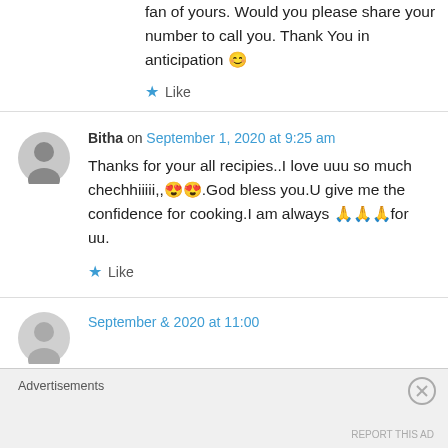fan of yours. Would you please share your number to call you. Thank You in anticipation 😊
★ Like
Bitha on September 1, 2020 at 9:25 am
Thanks for your all recipies..I love uuu so much chechhiiiii,,😍😍.God bless you.U give me the confidence for cooking.I am always 🙏🙏🙏for uu.
★ Like
Advertisements